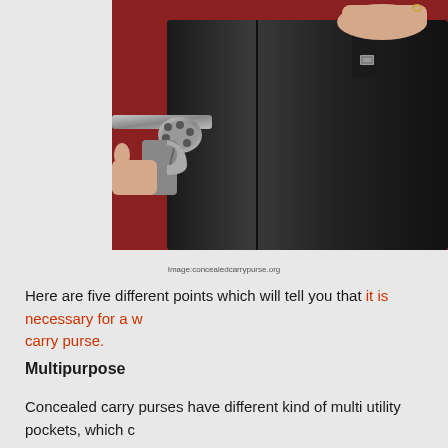[Figure (photo): A person's hands holding a black leather handbag/purse, with a silver revolver pistol visible next to it against a red background. The bag appears to be a concealed carry purse.]
Image:concealedcarrypurse.org
Here are five different points which will tell you that it is necessary for a woman to invest in a concealed carry purse.
Multipurpose
Concealed carry purses have different kind of multi utility pockets, which can be used for various purposes. You can also keep a weapon in it along with personal utilities. Bu...